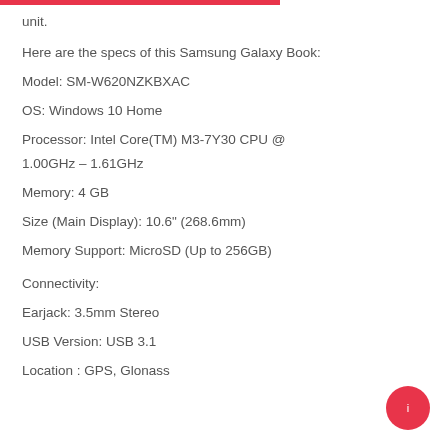unit.
Here are the specs of this Samsung Galaxy Book:
Model: SM-W620NZKBXAC
OS: Windows 10 Home
Processor: Intel Core(TM) M3-7Y30 CPU @ 1.00GHz – 1.61GHz
Memory: 4 GB
Size (Main Display): 10.6" (268.6mm)
Memory Support: MicroSD (Up to 256GB)
Connectivity:
Earjack: 3.5mm Stereo
USB Version: USB 3.1
Location : GPS, Glonass